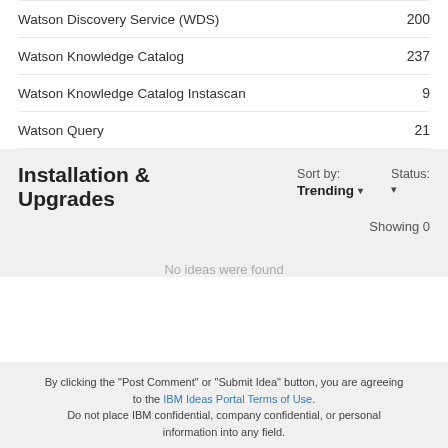Watson Discovery Service (WDS) — 200
Watson Knowledge Catalog — 237
Watson Knowledge Catalog Instascan — 9
Watson Query — 21
Installation & Upgrades
Sort by: Trending ▾
Status: ▾
Showing 0
No ideas were found
By clicking the "Post Comment" or "Submit Idea" button, you are agreeing to the IBM Ideas Portal Terms of Use. Do not place IBM confidential, company confidential, or personal information into any field.